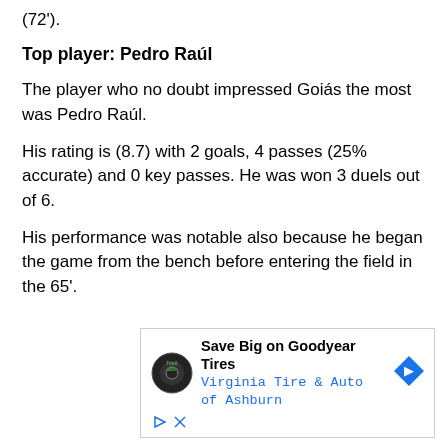(72').
Top player: Pedro Raúl
The player who no doubt impressed Goiás the most was Pedro Raúl.
His rating is (8.7) with 2 goals, 4 passes (25% accurate) and 0 key passes. He was won 3 duels out of 6.
His performance was notable also because he began the game from the bench before entering the field in the 65'.
[Figure (other): Advertisement for Virginia Tire & Auto of Ashburn featuring Goodyear Tires promotion with company logo, navigation arrow icon, and ad controls.]